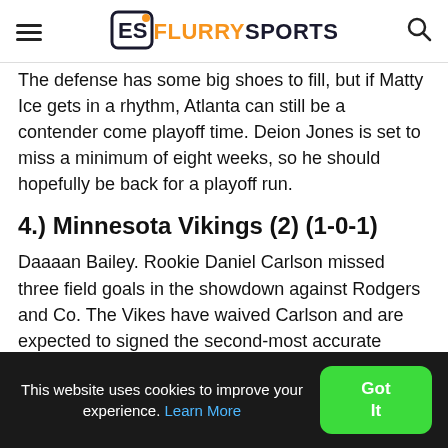FlurrySports
The defense has some big shoes to fill, but if Matty Ice gets in a rhythm, Atlanta can still be a contender come playoff time. Deion Jones is set to miss a minimum of eight weeks, so he should hopefully be back for a playoff run.
4.) Minnesota Vikings (2) (1-0-1)
Daaaan Bailey. Rookie Daniel Carlson missed three field goals in the showdown against Rodgers and Co. The Vikes have waived Carlson and are expected to signed the second-most accurate kicker in NFL
This website uses cookies to improve your experience. Learn More